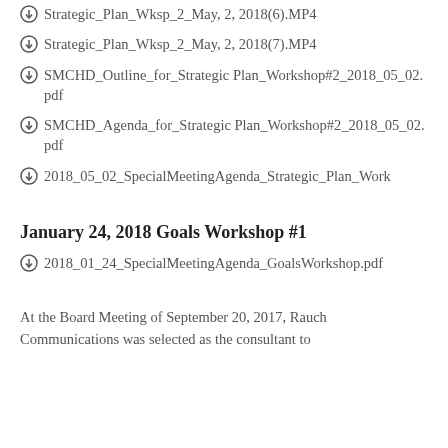Strategic_Plan_Wksp_2_May, 2, 2018(6).MP4
Strategic_Plan_Wksp_2_May, 2, 2018(7).MP4
SMCHD_Outline_for_Strategic Plan_Workshop#2_2018_05_02.pdf
SMCHD_Agenda_for_Strategic Plan_Workshop#2_2018_05_02.pdf
2018_05_02_SpecialMeetingAgenda_Strategic_Plan_Work
January 24, 2018 Goals Workshop #1
2018_01_24_SpecialMeetingAgenda_GoalsWorkshop.pdf
At the Board Meeting of September 20, 2017, Rauch Communications was selected as the consultant to